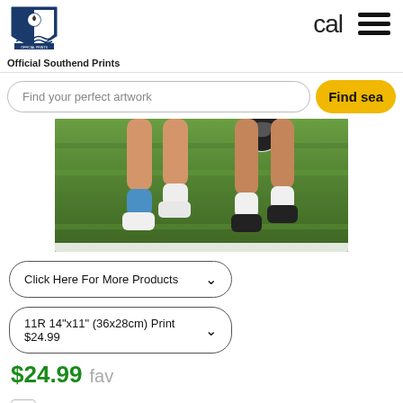[Figure (logo): Southend United football club crest logo, blue and white shield with football and waves]
Official Southend Prints
cal
[Figure (other): Three horizontal hamburger menu lines]
Find your perfect artwork
Find sea
[Figure (photo): Football match photo showing players legs on grass, one player in blue socks and white boots, another in white socks and black boots, with a football visible]
Click Here For More Products
11R 14"x11" (36x28cm) Print $24.99
$24.99 fav
Add filter